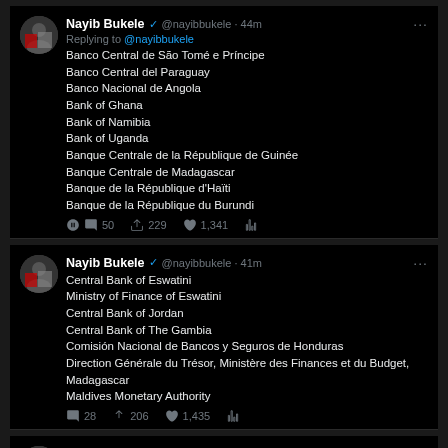[Figure (screenshot): Screenshot of Twitter/X showing three tweets by Nayib Bukele (@nayibbukele) listing central banks and financial institutions that responded to a Bitcoin survey.]
Nayib Bukele @nayibbukele · 44m
Replying to @nayibbukele
Banco Central de São Tomé e Príncipe
Banco Central del Paraguay
Banco Nacional de Angola
Bank of Ghana
Bank of Namibia
Bank of Uganda
Banque Centrale de la République de Guinée
Banque Centrale de Madagascar
Banque de la République d'Haïti
Banque de la République du Burundi
50 229 1,341
Nayib Bukele @nayibbukele · 41m
Central Bank of Eswatini
Ministry of Finance of Eswatini
Central Bank of Jordan
Central Bank of The Gambia
Comisión Nacional de Bancos y Seguros de Honduras
Direction Générale du Trésor, Ministère des Finances et du Budget, Madagascar
Maldives Monetary Authority
28 206 1,435
Nayib Bukele @nayibbukele · 37m
National Bank of Rwanda
Nepal Rastra Bank
Sacco Societies Regulatory Authority (SASRA) Kenya
State Bank of Pakistan
Superintendencia General de Entidades Financieras de Costa Rica